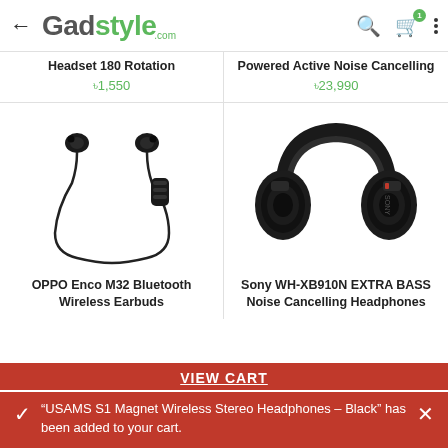Gadstyle.com
Headset 180 Rotation
৳1,550
Powered Active Noise Cancelling
৳23,990
[Figure (illustration): OPPO Enco M32 Bluetooth Wireless Earbuds - neckband style black earbuds with wire]
OPPO Enco M32 Bluetooth Wireless Earbuds
[Figure (illustration): Sony WH-XB910N EXTRA BASS Noise Cancelling Headphones - large black over-ear headphones]
Sony WH-XB910N EXTRA BASS Noise Cancelling Headphones
VIEW CART
“USAMS S1 Magnet Wireless Stereo Headphones – Black” has been added to your cart.